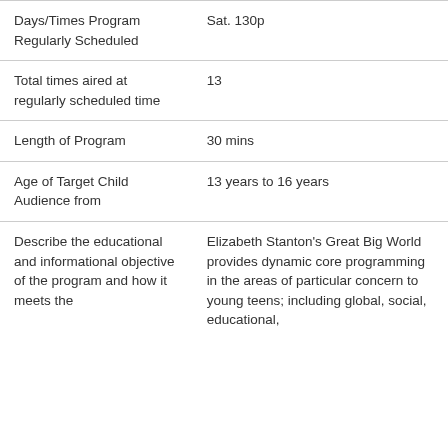| Field | Value |
| --- | --- |
| Days/Times Program Regularly Scheduled | Sat. 130p |
| Total times aired at regularly scheduled time | 13 |
| Length of Program | 30 mins |
| Age of Target Child Audience from | 13 years to 16 years |
| Describe the educational and informational objective of the program and how it meets the definition of Core... | Elizabeth Stanton's Great Big World provides dynamic core programming in the areas of particular concern to young teens; including global, social, educational, |